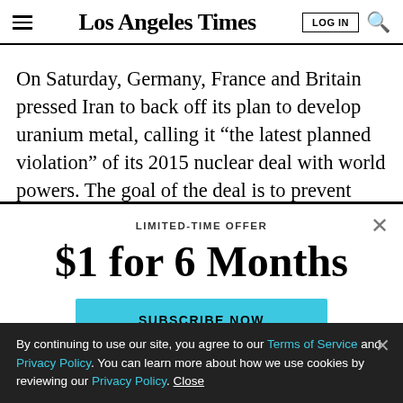Los Angeles Times
On Saturday, Germany, France and Britain pressed Iran to back off its plan to develop uranium metal, calling it “the latest planned violation” of its 2015 nuclear deal with world powers. The goal of the deal is to prevent
LIMITED-TIME OFFER
$1 for 6 Months
SUBSCRIBE NOW
By continuing to use our site, you agree to our Terms of Service and Privacy Policy. You can learn more about how we use cookies by reviewing our Privacy Policy. Close